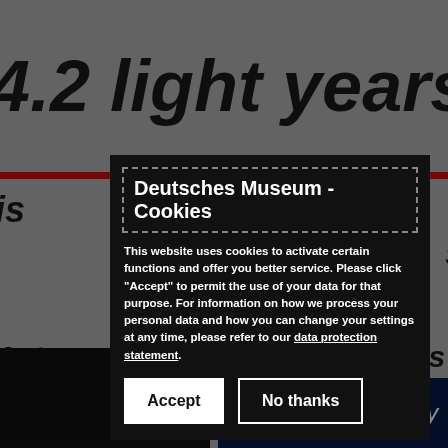[Figure (screenshot): Background webpage of Deutsches Museum showing text '4.2 light years' in large italic bold font, a red horizontal line, italic bold body text partially visible, 'Astronomy – Exhibition themes' text, a dark bottom image area, and a 'Universe / Night Sky' dark blue box in the bottom right.]
Deutsches Museum - Cookies
This website uses cookies to activate certain functions and offer you better service. Please click "Accept" to permit the use of your data for that purpose. For information on how we process your personal data and how you can change your settings at any time, please refer to our data protection statement.
Accept
No thanks